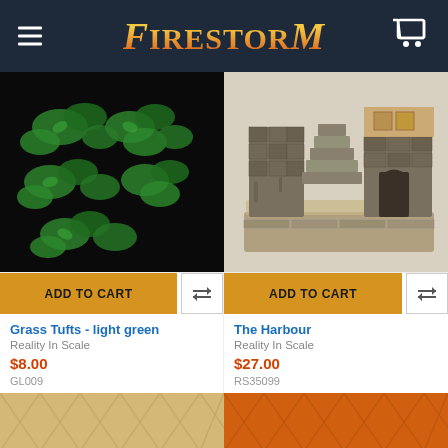FIRESTORM
[Figure (photo): Grass tufts - light green miniature bases on dark background]
[Figure (photo): The Harbour - detailed stone harbour scale model with stairs and weathering]
ADD TO CART
ADD TO CART
Grass Tufts - light green
Reality In Scale
$8.00
GL009
The Harbour
Reality In Scale
$27.00
RS35099
[Figure (photo): Partial view of a textured beige/tan surface product]
[Figure (photo): Partial view of a textured orange surface product]